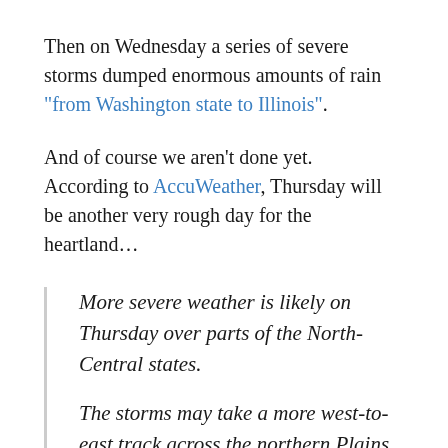Then on Wednesday a series of severe storms dumped enormous amounts of rain "from Washington state to Illinois".
And of course we aren't done yet.  According to AccuWeather, Thursday will be another very rough day for the heartland…
More severe weather is likely on Thursday over parts of the North-Central states.
The storms may take a more west-to-east track across the northern Plains to the Great Lakes region during Thursday afternoon and night.